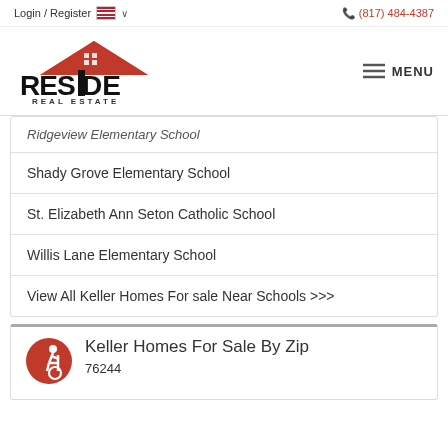Login / Register   🇺🇸 ∨       (817) 484-4387
[Figure (logo): Reside Real Estate logo with red house roof and vertical bar through 'I' in RESIDE]
MENU
Ridgeview Elementary School
Shady Grove Elementary School
St. Elizabeth Ann Seton Catholic School
Willis Lane Elementary School
View All Keller Homes For sale Near Schools >>>
Keller Homes For Sale By Zip
76244